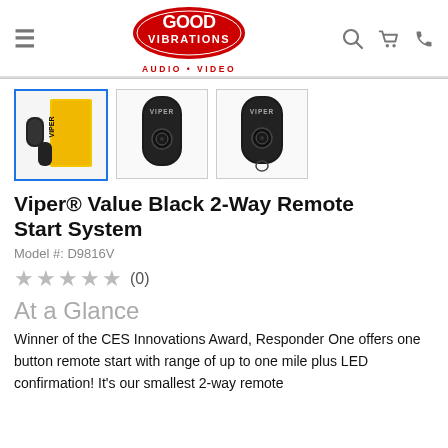[Figure (logo): Good Vibrations Audio Video store logo — red oval with white bold text]
[Figure (photo): Product thumbnail 1: Viper product box with yellow and black packaging and two remotes]
[Figure (photo): Product thumbnail 2: Viper black key fob remote, front view]
[Figure (photo): Product thumbnail 3: Viper black key fob remote, slightly angled view]
Viper® Value Black 2-Way Remote Start System
Model #: D9816V
★ ★ ★ ★ ★ (0)
At a Glance
Winner of the CES Innovations Award, Responder One offers one button remote start with range of up to one mile plus LED confirmation! It's our smallest 2-way remote...